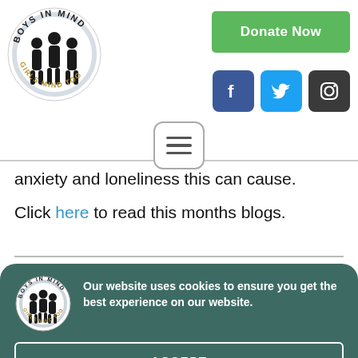[Figure (logo): Boys in Mind / Girls Mind Too circular logo with silhouettes]
[Figure (infographic): Green Donate Now button]
[Figure (infographic): Social media icons: Facebook (blue), Twitter (light blue), Instagram (dark)]
[Figure (infographic): Hamburger menu button with three horizontal lines]
anxiety and loneliness this can cause.
Click here to read this months blogs.
[Figure (logo): Boys in Mind / Girls Mind Too small logo in footer]
Our website uses cookies to ensure you get the best experience on our website.
ACCEPT